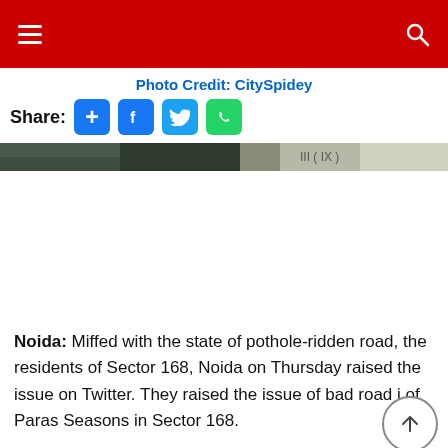Navigation bar with hamburger menu and search icon
Photo Credit: CitySpidey
Share:
[Figure (screenshot): Image strip showing trees/greenery, partially cropped at top]
Noida: Miffed with the state of pothole-ridden road, the residents of Sector 168, Noida on Thursday raised the issue on Twitter. They raised the issue of bad road i of Paras Seasons in Sector 168.